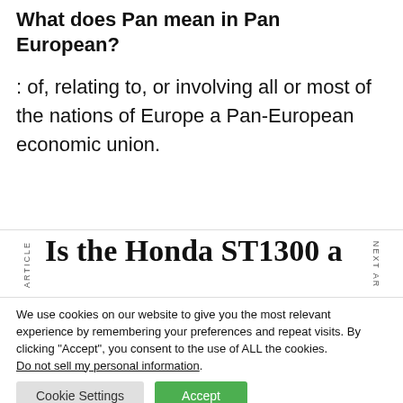What does Pan mean in Pan European?
: of, relating to, or involving all or most of the nations of Europe a Pan-European economic union.
Is the Honda ST1300 a
We use cookies on our website to give you the most relevant experience by remembering your preferences and repeat visits. By clicking “Accept”, you consent to the use of ALL the cookies.
Do not sell my personal information.